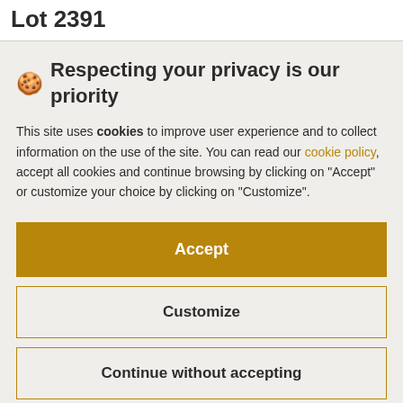Lot 2391
🍪 Respecting your privacy is our priority
This site uses cookies to improve user experience and to collect information on the use of the site. You can read our cookie policy, accept all cookies and continue browsing by clicking on "Accept" or customize your choice by clicking on "Customize".
Accept
Customize
Continue without accepting